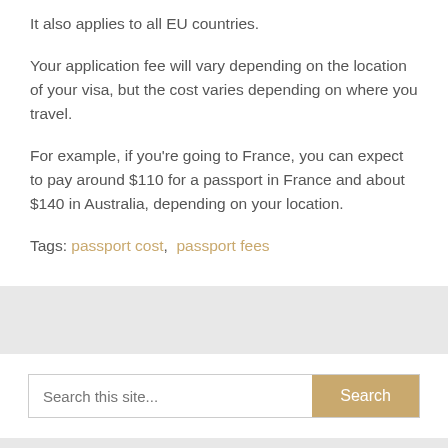It also applies to all EU countries.
Your application fee will vary depending on the location of your visa, but the cost varies depending on where you travel.
For example, if you're going to France, you can expect to pay around $110 for a passport in France and about $140 in Australia, depending on your location.
Tags: passport cost, passport fees